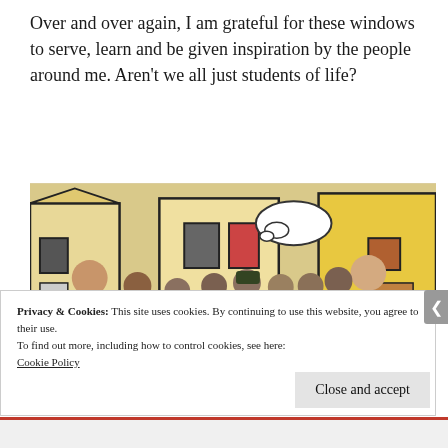Over and over again, I am grateful for these windows to serve, learn and be given inspiration by the people around me. Aren’t we all just students of life?
[Figure (photo): Group photo of children and two young women standing in front of a colorful hand-drawn mural backdrop depicting buildings and houses. The children are smiling and posing, one wearing a red Vietnam flag shirt.]
Privacy & Cookies: This site uses cookies. By continuing to use this website, you agree to their use.
To find out more, including how to control cookies, see here:
Cookie Policy
Close and accept